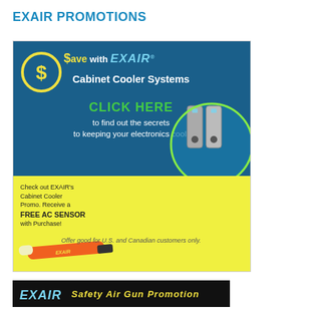EXAIR PROMOTIONS
[Figure (infographic): EXAIR Cabinet Cooler Systems promotional advertisement with dark blue background top half showing 'Save with EXAIR Cabinet Cooler Systems', 'CLICK HERE to find out the secrets to keeping your electronics cool!', and yellow bottom half with 'Check out EXAIR's Cabinet Cooler Promo. Receive a FREE AC SENSOR with Purchase!' alongside product images]
Offer good for U.S. and Canadian customers only.
[Figure (infographic): EXAIR Safety Air Gun Promotion banner with black background and yellow italic text]